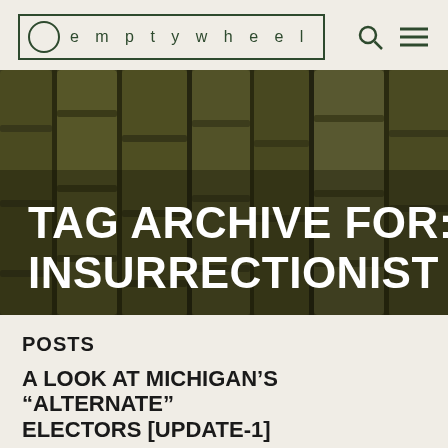emptywheel
[Figure (photo): Close-up photo of dark olive-green bamboo stalks used as a hero/banner image background]
TAG ARCHIVE FOR: INSURRECTIONIST
POSTS
A LOOK AT MICHIGAN'S “ALTERNATE” ELECTORS [UPDATE-1]